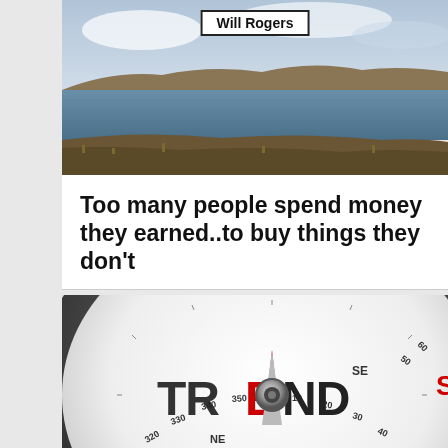[Figure (photo): Landscape photograph showing a lake or river with moorland/hills in the background and wide sky, with 'Will Rogers' label overlaid]
Too many people spend money they earned..to buy things they don't
[Figure (photo): Close-up photograph of a compass showing the word TREND spelled out with a red needle pointing toward SE, dial markings including NE, numbers 320-360 visible]